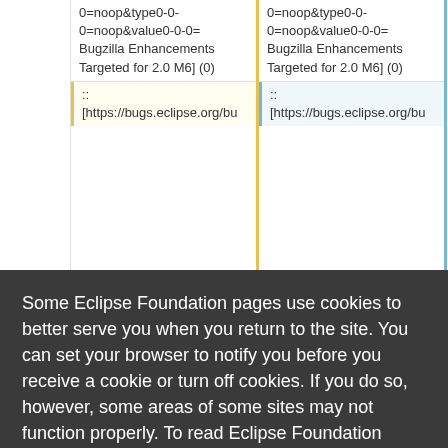0=noop&type0-0-0=noop&value0-0-0=Bugzilla Enhancements Targeted for 2.0 M6] (0)
0=noop&type0-0-0=noop&value0-0-0=Bugzilla Enhancements Targeted for 2.0 M6] (0)
::
[https://bugs.eclipse.org/bu
::
[https://bugs.eclipse.org/bu
Some Eclipse Foundation pages use cookies to better serve you when you return to the site. You can set your browser to notify you before you receive a cookie or turn off cookies. If you do so, however, some areas of some sites may not function properly. To read Eclipse Foundation Privacy Policy
click here.
Decline
Allow cookies
=2.0+M1&target_mileston
=2.0+M1&target_mileston